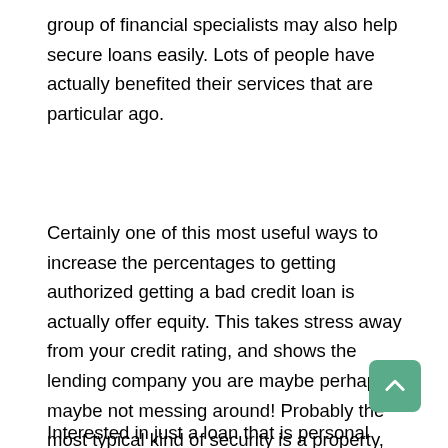group of financial specialists may also help secure loans easily. Lots of people have actually benefited their services that are particular ago.
Certainly one of this most useful ways to increase the percentages to getting authorized getting a bad credit loan is actually offer equity. This takes stress away from your credit rating, and shows the lending company you are maybe perhaps maybe not messing around! Probably the most typical kind of security is a property, nevertheless it may be a motor vehicle, motorboat, precious jewelry, or something that might have use of a get pleasure from. Demonstrably, if you do not spend mortgage right back they'll simply take whatever your security is, therefore be particular to pay for every thing right right right back. This just additionally help with reduce your rate of interest from extreme bad credit rates down seriously to normal.
Interested in just a loan that is personal along side bad credit may